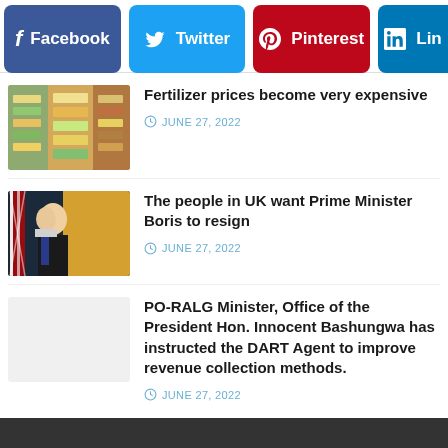[Figure (other): Social media share buttons: Facebook (blue), Twitter (light blue), Pinterest (red), LinkedIn (blue, partially visible)]
[Figure (photo): Thumbnail photo of a store with shelves of products (fertilizer/farm supplies)]
Fertilizer prices become very expensive
JUNE 27, 2022
[Figure (photo): Thumbnail photo of Boris Johnson speaking at a podium with UK flag in background]
The people in UK want Prime Minister Boris to resign
JUNE 27, 2022
[Figure (other): Blank/empty thumbnail placeholder]
PO-RALG Minister, Office of the President Hon. Innocent Bashungwa has instructed the DART Agent to improve revenue collection methods.
JUNE 27, 2022